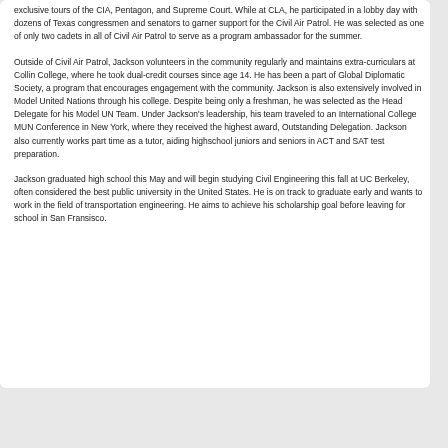exclusive tours of the CIA, Pentagon, and Supreme Court. While at CLA, he partic­ip­ated in a lobby day with dozens of Texas congressmen and senators to garner support for the Civil A­ir Patrol. He was selected as one of only two cadets in all of Civil Air Patrol to serve as a program ambassador for the summer.
Outside of Civil Air Patrol, Jackson volunteers in the community regularly and maintains extra-curriculars at Collin College, where he took dual-credit courses since age 14. He has been a part of Global Diplomatic Society, a program that encourages engagement with the community. Jackson is also extensively involved in Model United Nations through his college. Despite being only a freshman, he was selected as the Head Delegate for his Model UN Team. Under Jackson's leadership, his team traveled to an International College MUN Conference in New York, where they received the highest award, Outstanding Delegation. Jackson also currently works part time as a tutor, aiding highschool juniors and seniors in ACT and SAT test preparation.
Jackson graduated high school this May and will begin studying Civil Engineering this fall at UC Berkeley, often considered the best public university in the United States. He is on track to graduate early and wants to work in the field of transportation engineering. He aims to achieve his scholarship goal before leaving for school in San Fransisco.